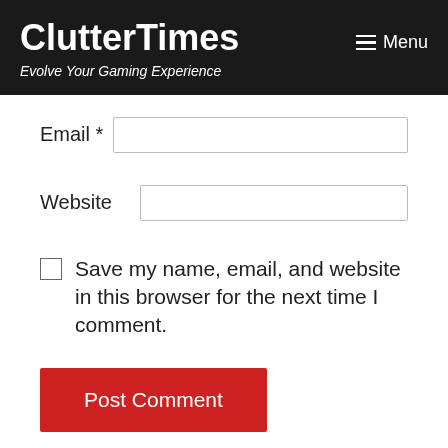ClutterTimes — Evolve Your Gaming Experience
Email *
Website
Save my name, email, and website in this browser for the next time I comment.
Post Comment